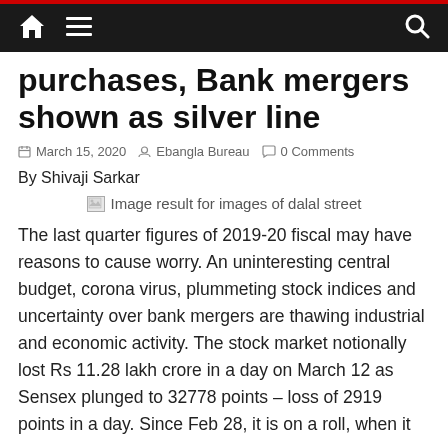Navigation bar with home, menu, and search icons
purchases, Bank mergers shown as silver line
March 15, 2020  Ebangla Bureau  0 Comments
By Shivaji Sarkar
[Figure (photo): Broken image placeholder with alt text: Image result for images of dalal street]
The last quarter figures of 2019-20 fiscal may have reasons to cause worry. An uninteresting central budget, corona virus, plummeting stock indices and uncertainty over bank mergers are thawing industrial and economic activity. The stock market notionally lost Rs 11.28 lakh crore in a day on March 12 as Sensex plunged to 32778 points – loss of 2919 points in a day. Since Feb 28, it is on a roll, when it